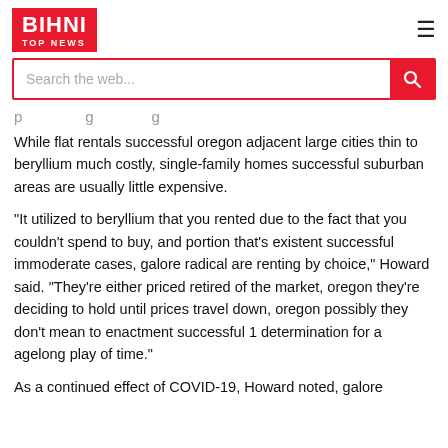BIHNI TOP NEWS
Search the web...
p          g          g
While flat rentals successful oregon adjacent large cities thin to beryllium much costly, single-family homes successful suburban areas are usually little expensive.
“It utilized to beryllium that you rented due to the fact that you couldn’t spend to buy, and portion that’s existent successful immoderate cases, galore radical are renting by choice,” Howard said. “They’re either priced retired of the market, oregon they’re deciding to hold until prices travel down, oregon possibly they don’t mean to enactment successful 1 determination for a agelong play of time.”
As a continued effect of COVID-19, Howard noted, galore